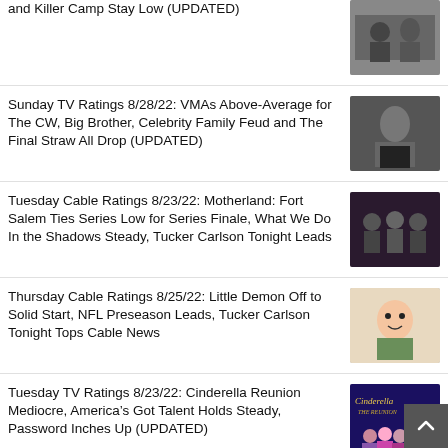and Killer Camp Stay Low (UPDATED)
Sunday TV Ratings 8/28/22: VMAs Above-Average for The CW, Big Brother, Celebrity Family Feud and The Final Straw All Drop (UPDATED)
Tuesday Cable Ratings 8/23/22: Motherland: Fort Salem Ties Series Low for Series Finale, What We Do In the Shadows Steady, Tucker Carlson Tonight Leads
Thursday Cable Ratings 8/25/22: Little Demon Off to Solid Start, NFL Preseason Leads, Tucker Carlson Tonight Tops Cable News
Tuesday TV Ratings 8/23/22: Cinderella Reunion Mediocre, America's Got Talent Holds Steady, Password Inches Up (UPDATED)
Wednesday TV Ratings 8/24/22: The Resort Preview Weak, Big Brother Hits Season High,